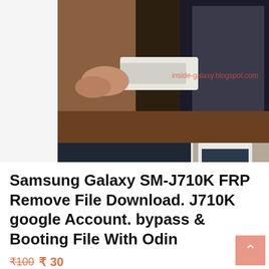[Figure (photo): Three photographs showing a hand inserting a USB cable/OTG adapter into a Samsung Galaxy phone. Top image shows a large view of hands holding the phone and cable with a watermark 'inside-galaxy.blogspot.com'. Bottom two images show close-up views of the USB connector being inserted into the phone's port.]
Samsung Galaxy SM-J710K FRP Remove File Download. J710K google Account. bypass & Booting File With Odin
₹100 ₹ 30
Samsung Galaxy SM-J710K FRP Remove File Download. J710K google Account. bypass & Booting